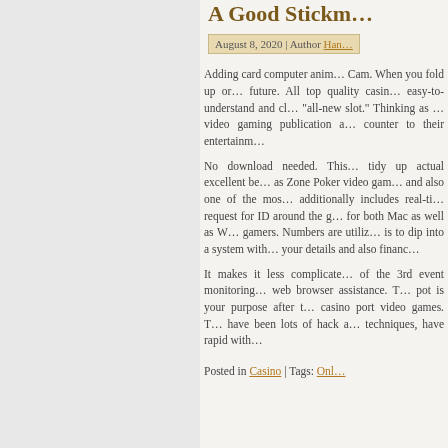A Good Stickm…
August 8, 2020 | Author Ham…
Adding card computer anim… Cam. When you fold up or… future. All top quality casin… easy-to-understand and cl… "all-new slot." Thinking as … video gaming publication a… counter to their entertainm…
No download needed. This… tidy up actual excellent be… as Zone Poker video gam… and also one of the mos… additionally includes real-ti… request for ID around the g… for both Mac as well as W… gamers. Numbers are utiliz… is to dip into a system with… your details and also financ…
It makes it less complicate… of the 3rd event monitoring… web browser assistance. T… pot is your purpose after t… casino port video games. T… have been lots of hack a… techniques, have rapid with…
Posted in Casino | Tags: Onl…